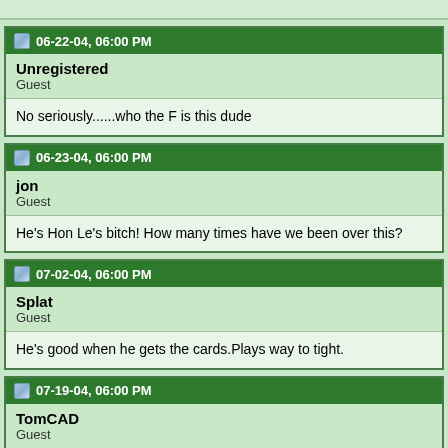06-22-04, 06:00 PM
Unregistered
Guest
No seriously......who the F is this dude
06-23-04, 06:00 PM
jon
Guest
He's Hon Le's bitch! How many times have we been over this?
07-02-04, 06:00 PM
Splat
Guest
He's good when he gets the cards.Plays way to tight.
07-19-04, 06:00 PM
TomCAD
Guest
He was my chief in the late 80' (IT/CAD business) He always said "I'm winning!